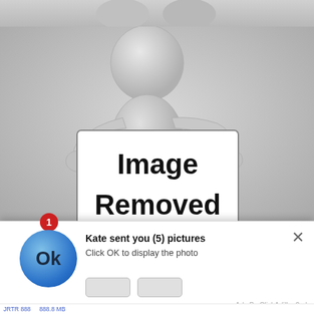[Figure (illustration): A 3D rendered grey stick figure person holding a white sign that reads 'Image Removed'. The figure has a round featureless head and simplified body. Background is grey gradient. At the top there is a partial cropped image strip.]
Dow
[Figure (screenshot): A notification popup overlay at the bottom of the screen. It shows a blue circle avatar with 'Ok' text, a red badge with '1', a title 'Kate sent you (5) pictures', subtitle 'Click OK to display the photo', an X close button, and two grey action buttons. Footer reads 'Ads By ClickAdilla  2sd'.]